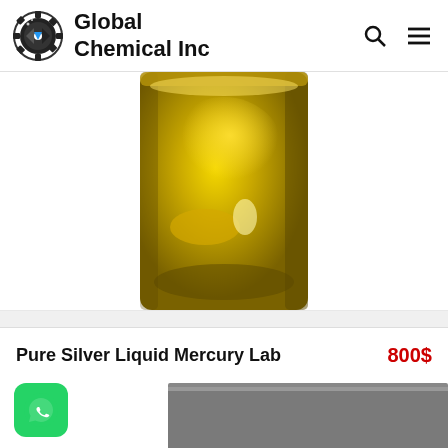Global Chemical Inc
[Figure (photo): A glass jar/container partially filled with yellow-golden liquid (product photo) centered on white background]
Pure Silver Liquid Mercury Lab
800$
[Figure (logo): WhatsApp logo icon (green rounded square with white phone/chat icon)]
[Figure (photo): Partial grey/dark product image visible at bottom of page]